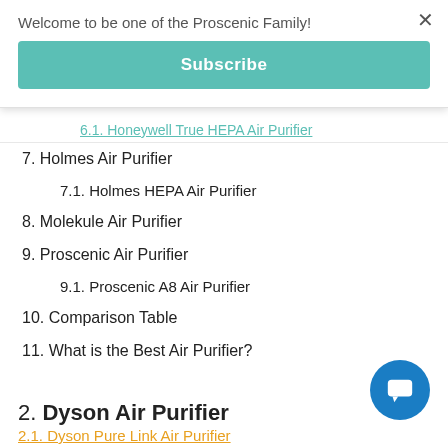Welcome to be one of the Proscenic Family!
Subscribe
6.1. Honeywell True HEPA Air Purifier
7. Holmes Air Purifier
7.1. Holmes HEPA Air Purifier
8. Molekule Air Purifier
9. Proscenic Air Purifier
9.1. Proscenic A8 Air Purifier
10. Comparison Table
11. What is the Best Air Purifier?
2. Dyson Air Purifier
2.1. Dyson Pure Link Air Purifier